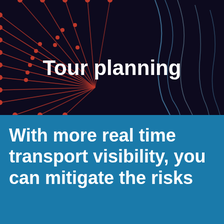[Figure (illustration): Dark navy background with red radiating lines and dots resembling a network or neural connection graphic, with light blue curved lines on the right side.]
Tour planning
With more real time transport visibility, you can mitigate the risks